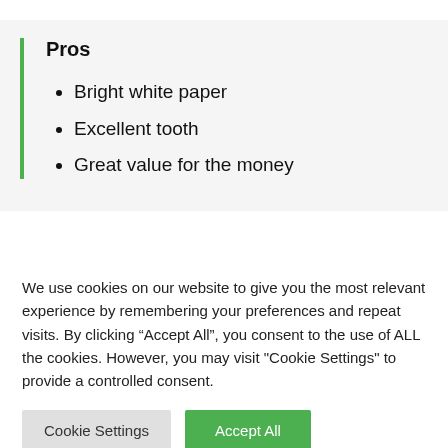Pros
Bright white paper
Excellent tooth
Great value for the money
Cons
We use cookies on our website to give you the most relevant experience by remembering your preferences and repeat visits. By clicking “Accept All”, you consent to the use of ALL the cookies. However, you may visit "Cookie Settings" to provide a controlled consent.